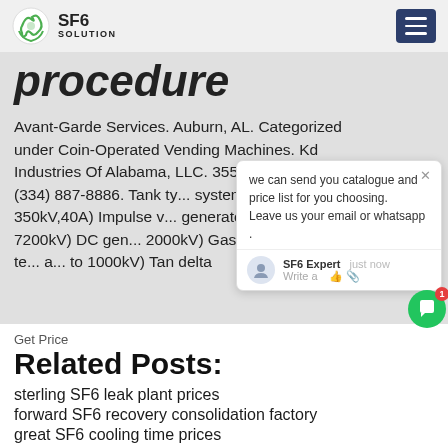SF6 SOLUTION
procedure
Avant-Garde Services. Auburn, AL. Categorized under Coin-Operated Vending Machines. Kd Industries Of Alabama, LLC. 355 In... Auburn, AL (334) 887-8886. Tank ty... system (up to 350kV,40A) Impulse v... generator (200Kv- 7200kV) DC gen... 2000kV) Gas(SF6) insulated te... a... to 1000kV) Tan delta
Get Price
Related Posts:
sterling SF6 leak plant prices
forward SF6 recovery consolidation factory
great SF6 cooling time prices
finest SF6 analysis system price